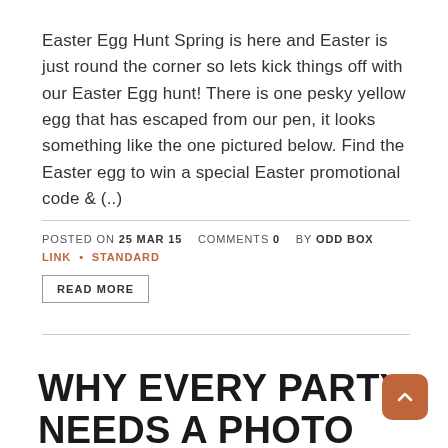Easter Egg Hunt Spring is here and Easter is just round the corner so lets kick things off with our Easter Egg hunt! There is one pesky yellow egg that has escaped from our pen, it looks something like the one pictured below. Find the Easter egg to win a special Easter promotional code & (..)
POSTED ON 25 MAR 15   COMMENTS 0   BY ODD BOX
LINK • STANDARD
READ MORE
WHY EVERY PARTY NEEDS A PHOTO BOOTH